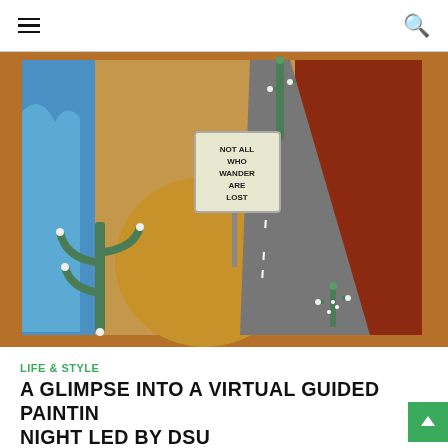Navigation header with hamburger menu and search icon
[Figure (photo): A painting on canvas showing a desert scene with cacti, a road, mountains, a blue sky, and a sign reading 'NOT ALL WHO WANDER ARE LOST'. The painting is placed on a wooden surface.]
LIFE & STYLE
A GLIMPSE INTO A VIRTUAL GUIDED PAINTING NIGHT LED BY DSU